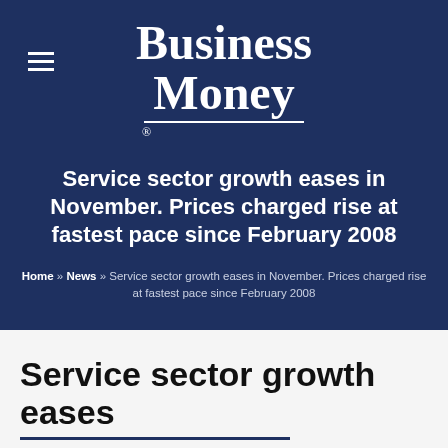Business Money ®
Service sector growth eases in November. Prices charged rise at fastest pace since February 2008
Home » News » Service sector growth eases in November. Prices charged rise at fastest pace since February 2008
Service sector growth eases